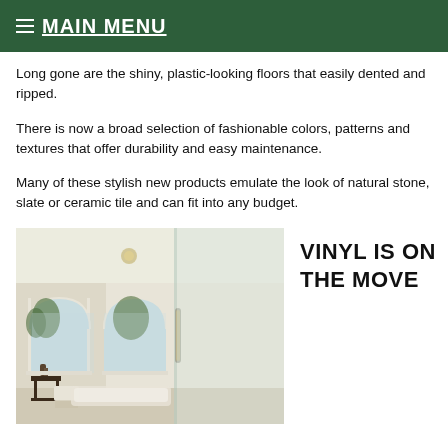≡ MAIN MENU
Long gone are the shiny, plastic-looking floors that easily dented and ripped.
There is now a broad selection of fashionable colors, patterns and textures that offer durability and easy maintenance.
Many of these stylish new products emulate the look of natural stone, slate or ceramic tile and can fit into any budget.
[Figure (photo): Elegant bathroom interior with arched windows, glass shower enclosure, freestanding bathtub and small side table with decor]
VINYL IS ON THE MOVE